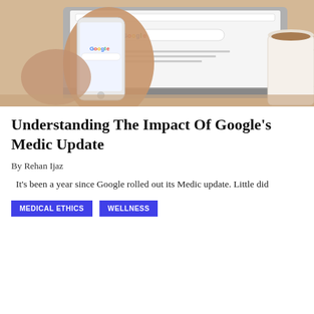[Figure (photo): Person holding a smartphone with Google search open, laptop and coffee cup in background on a wooden table.]
Understanding The Impact Of Google's Medic Update
By Rehan Ijaz
It's been a year since Google rolled out its Medic update. Little did
MEDICAL ETHICS
WELLNESS